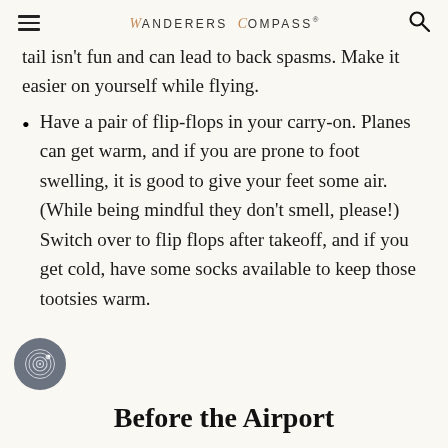WANDERERS COMPASS
tail isn't fun and can lead to back spasms. Make it easier on yourself while flying.
Have a pair of flip-flops in your carry-on. Planes can get warm, and if you are prone to foot swelling, it is good to give your feet some air. (While being mindful they don't smell, please!) Switch over to flip flops after takeoff, and if you get cold, have some socks available to keep those tootsies warm.
Before the Airport